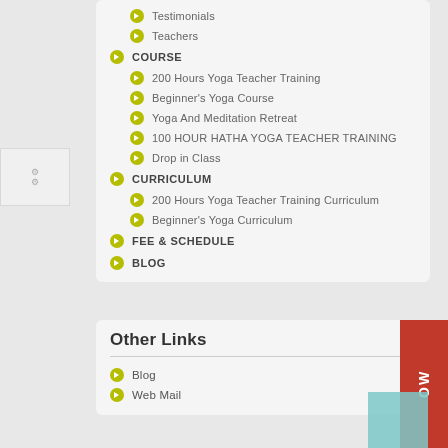Testimonials
Teachers
COURSE
200 Hours Yoga Teacher Training
Beginner's Yoga Course
Yoga And Meditation Retreat
100 HOUR HATHA YOGA TEACHER TRAINING
Drop in Class
CURRICULUM
200 Hours Yoga Teacher Training Curriculum
Beginner's Yoga Curriculum
FEE & SCHEDULE
BLOG
Other Links
Blog
Web Mail